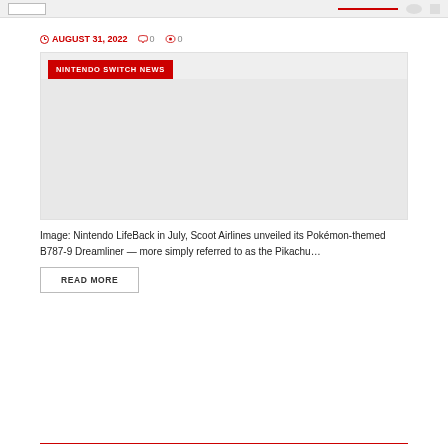AUGUST 31, 2022  0  0
NINTENDO SWITCH NEWS
[Figure (other): Placeholder image area for Nintendo Switch news article]
Image: Nintendo LifeBack in July, Scoot Airlines unveiled its Pokémon-themed B787-9 Dreamliner — more simply referred to as the Pikachu…
READ MORE